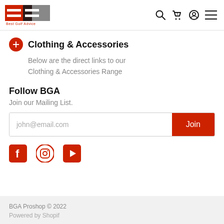BGA Best Golf Advice
Clothing & Accessories
Below are the direct links to our Clothing & Accessories Range
Follow BGA
Join our Mailing List.
[Figure (screenshot): Email signup form with placeholder john@email.com and orange Join button]
[Figure (illustration): Social media icons: Facebook, Instagram, YouTube in red/orange]
BGA Proshop © 2022